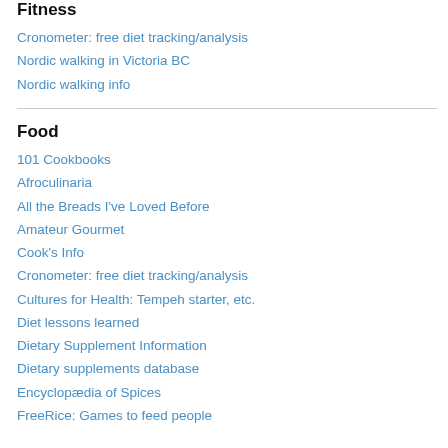Fitness
Cronometer: free diet tracking/analysis
Nordic walking in Victoria BC
Nordic walking info
Food
101 Cookbooks
Afroculinaria
All the Breads I've Loved Before
Amateur Gourmet
Cook's Info
Cronometer: free diet tracking/analysis
Cultures for Health: Tempeh starter, etc.
Diet lessons learned
Dietary Supplement Information
Dietary supplements database
Encyclopædia of Spices
FreeRice: Games to feed people